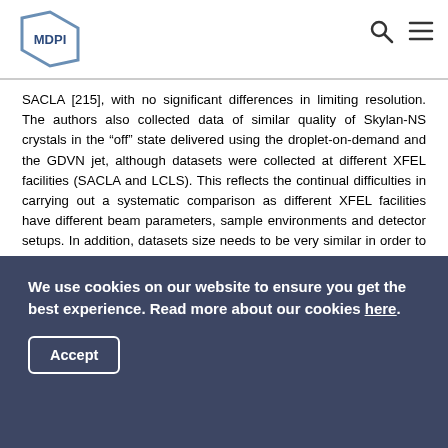MDPI
SACLA [215], with no significant differences in limiting resolution. The authors also collected data of similar quality of Skylan-NS crystals in the “off” state delivered using the droplet-on-demand and the GDVN jet, although datasets were collected at different XFEL facilities (SACLA and LCLS). This reflects the continual difficulties in carrying out a systematic comparison as different XFEL facilities have different beam parameters, sample environments and detector setups. In addition, datasets size needs to be very similar in order to ensure that they are at the same stage of data convergence before data quality can be fairly compared.
During any structure-based drug discovery campaign
We use cookies on our website to ensure you get the best experience. Read more about our cookies here.
Accept